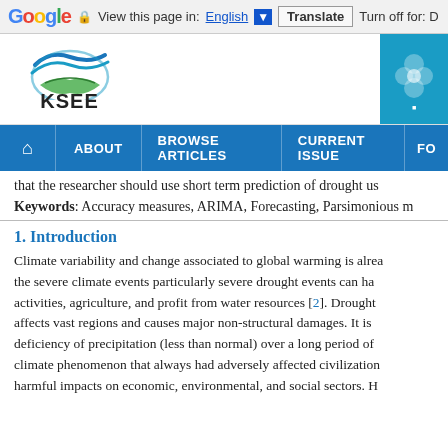Google  View this page in: English ▼  Translate  Turn off for: D
[Figure (logo): KSEE journal logo with blue wave and green hands icon, and a teal badge logo on the right]
🏠  ABOUT  BROWSE ARTICLES  CURRENT ISSUE  FO
that the researcher should use short term prediction of drought us
Keywords: Accuracy measures, ARIMA, Forecasting, Parsimonious m
1. Introduction
Climate variability and change associated to global warming is alrea the severe climate events particularly severe drought events can ha activities, agriculture, and profit from water resources [2]. Drought affects vast regions and causes major non-structural damages. It is deficiency of precipitation (less than normal) over a long period of climate phenomenon that always had adversely affected civilization harmful impacts on economic, environmental, and social sectors. H